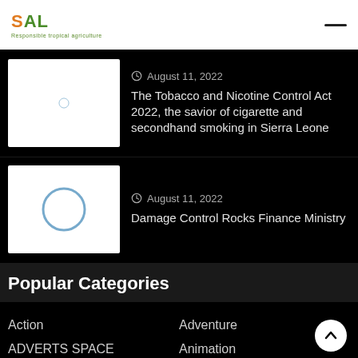DAL - Responsible tropical agriculture
[Figure (photo): Article thumbnail placeholder with loading circle icon]
August 11, 2022
The Tobacco and Nicotine Control Act 2022, the savior of cigarette and secondhand smoking in Sierra Leone
[Figure (photo): Article thumbnail placeholder with loading circle icon]
August 11, 2022
Damage Control Rocks Finance Ministry
Popular Categories
Action
Adventure
ADVERTS SPACE
Animation